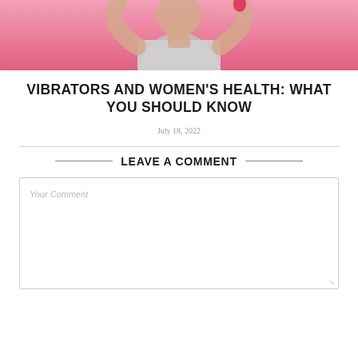[Figure (photo): Cropped photo of a woman in a grey tank top with arms raised, against a pink background]
VIBRATORS AND WOMEN'S HEALTH: WHAT YOU SHOULD KNOW
July 18, 2022
LEAVE A COMMENT
Your Comment